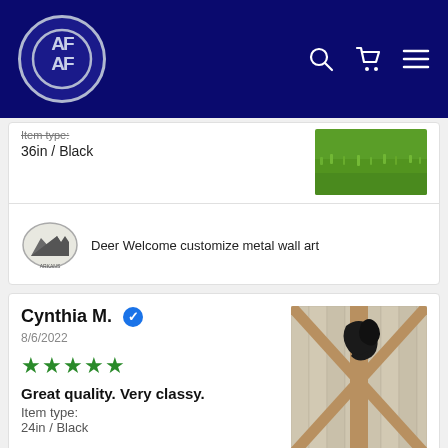AF logo navigation bar with search, cart, and menu icons
Item type:
36in / Black
[Figure (photo): Photo of green grass/lawn]
[Figure (logo): Deer Welcome product icon/logo]
Deer Welcome customize metal wall art
Cynthia M. ✓
8/6/2022
★★★★★
Great quality. Very classy.
Item type:
24in / Black
[Figure (photo): Photo showing metal wall art of jumping dolphins on a barn door]
[Figure (logo): Jumping Dolphins product circular icon]
Jumping Dolphins Group Metal Wall Art Idea For Decor Your Home